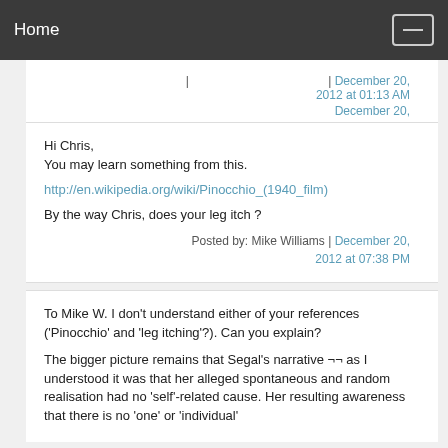Home
Posted by: Chris Strenke | December 20, 2012 at 01:13 AM
Hi Chris,
You may learn something from this.

http://en.wikipedia.org/wiki/Pinocchio_(1940_film)

By the way Chris, does your leg itch ?

Posted by: Mike Williams | December 20, 2012 at 07:38 PM
To Mike W. I don't understand either of your references ('Pinocchio' and 'leg itching'?). Can you explain?

The bigger picture remains that Segal's narrative ¬¬ as I understood it was that her alleged spontaneous and random realisation had no 'self'-related cause. Her resulting awareness that there is no 'one' or 'individual'